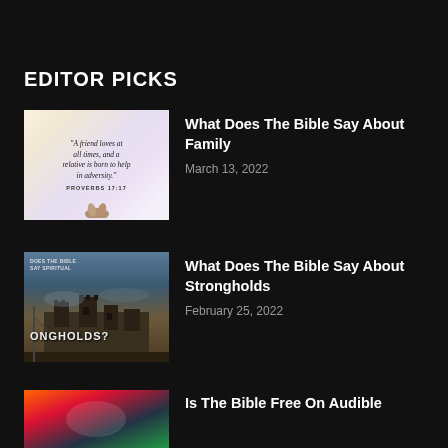EDITOR PICKS
[Figure (photo): Bible verse image showing Proverbs 17:17 - 'A friend loves at all times, and a relative is born to help in adversity.' with hands visible at bottom]
What Does The Bible Say About Family
March 13, 2022
[Figure (photo): Dark castle/stronghold image with text 'DOES THE BIBLE SAY ABOUT SPIRITUAL STRONGHOLDS?' overlay]
What Does The Bible Say About Strongholds
February 25, 2022
[Figure (photo): Colorful image with orange, red, green gradient colors]
Is The Bible Free On Audible